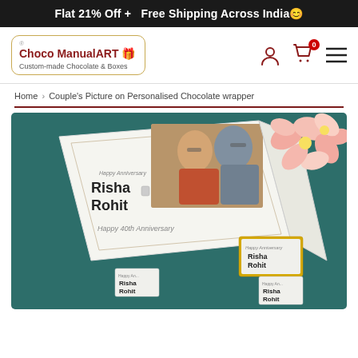Flat 21% Off +   Free Shipping Across India 😊
[Figure (logo): Choco ManualART logo with gift box icon, subtitle: Custom-made Chocolate & Boxes]
[Figure (infographic): Nav icons: user silhouette, shopping bag with 0 badge, hamburger menu]
Home › Couple's Picture on Personalised Chocolate wrapper
[Figure (photo): Product photo: personalised chocolate box on teal background with couple's photo on lid, chocolates labeled Risha Rohit Happy Anniversary, pink flowers in corner]